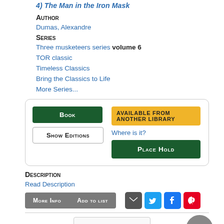4) THE MAN IN THE IRON MASK (clipped/partial at top)
Author
Dumas, Alexandre
Series
Three musketeers series volume 6
TOR classic
Timeless Classics
Bring the Classics to Life
More Series...
Book | Show Editions | AVAILABLE FROM ANOTHER LIBRARY | Where is it? | Place Hold
Description
Read Description
More Info | Add to list
[Figure (screenshot): Thumbnail of next book entry, Treasure Island]